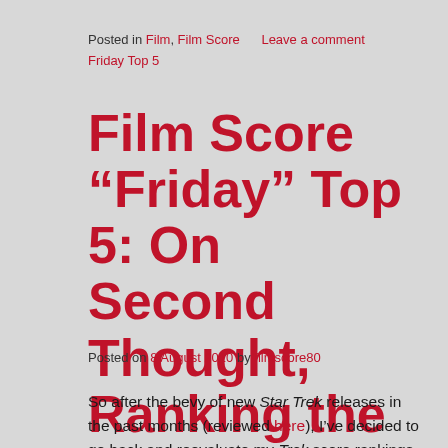Posted in Film, Film Score     Leave a comment
Friday Top 5
Film Score “Friday” Top 5: On Second Thought, Ranking the ‘Star Trek’ Scores
Posted on 8 August 2010 by filmscore80
So after the bevy of new Star Trek releases in the past months (reviewed here), I’ve decided to go back and reevaluate my Trek score rankings from last summer